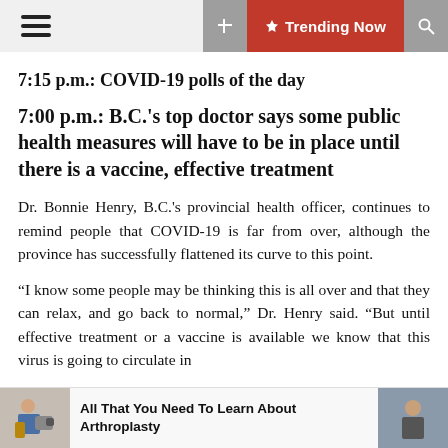Trending Now
7:15 p.m.: COVID-19 polls of the day
7:00 p.m.: B.C.'s top doctor says some public health measures will have to be in place until there is a vaccine, effective treatment
Dr. Bonnie Henry, B.C.'s provincial health officer, continues to remind people that COVID-19 is far from over, although the province has successfully flattened its curve to this point.
“I know some people may be thinking this is all over and that they can relax, and go back to normal,” Dr. Henry said. “But until effective treatment or a vaccine is available we know that this virus is going to circulate in
[Figure (photo): Advertisement banner: man working on machinery, text 'All That You Need To Learn About Arthroplasty', man in background]
All That You Need To Learn About Arthroplasty